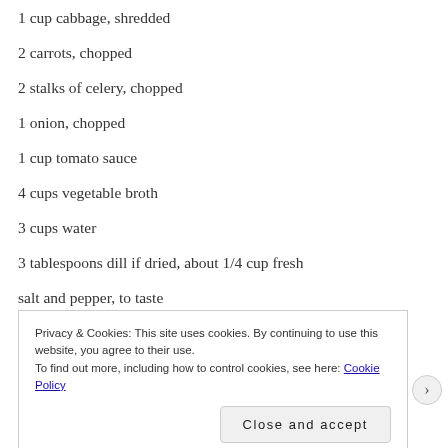1 cup cabbage, shredded
2 carrots, chopped
2 stalks of celery, chopped
1 onion, chopped
1 cup tomato sauce
4 cups vegetable broth
3 cups water
3 tablespoons dill if dried, about 1/4 cup fresh
salt and pepper, to taste
sour cream (a scoop on top before serving)
Privacy & Cookies: This site uses cookies. By continuing to use this website, you agree to their use.
To find out more, including how to control cookies, see here: Cookie Policy
Close and accept